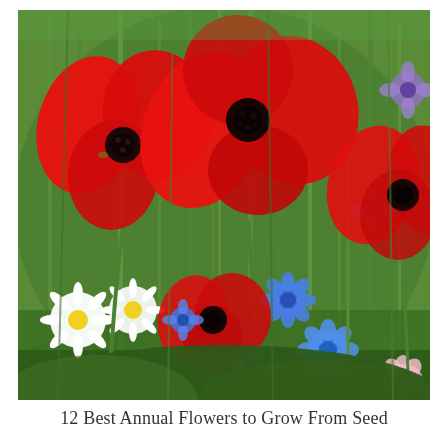[Figure (photo): A vibrant wildflower meadow featuring large red poppies prominently in the foreground and middle ground, alongside blue cornflowers, white daisies, purple flowers, and pink flowers, all set against a lush green background of stems and foliage.]
12 Best Annual Flowers to Grow From Seed